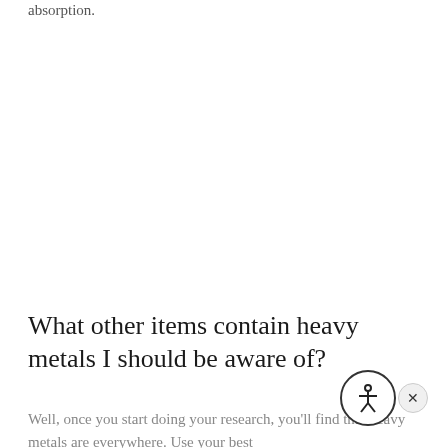absorption.
What other items contain heavy metals I should be aware of?
Well, once you start doing your research, you'll find that heavy metals are everywhere. Use your best